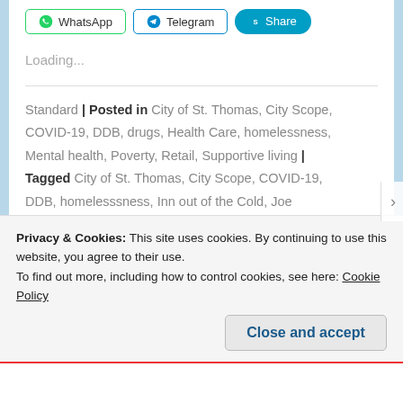[Figure (screenshot): Share buttons row: WhatsApp, Telegram, Share (Skype)]
Loading...
Standard | Posted in City of St. Thomas, City Scope, COVID-19, DDB, drugs, Health Care, homelessness, Mental health, Poverty, Retail, Supportive living | Tagged City of St. Thomas, City Scope, COVID-19, DDB, homelesssness, Inn out of the Cold, Joe Preston, Lakeside Terrace, Leticia Mizon, mental health care, MPP Jeff Burch, SupportiveLiving.ca, The Nameless, Vishal Chityal, Walnut Manor | 0 comments
Privacy & Cookies: This site uses cookies. By continuing to use this website, you agree to their use.
To find out more, including how to control cookies, see here: Cookie Policy
Close and accept